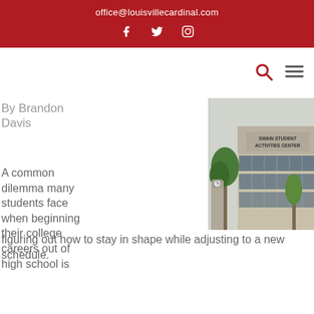office@louisvillecardinal.com
By Brandon Davis
[Figure (photo): Exterior photo of the Swain Student Activities Center building with trees and a clock tower visible in the foreground]
A common dilemma many students face when beginning their college careers out of high school is figuring out how to stay in shape while adjusting to a new schedule.